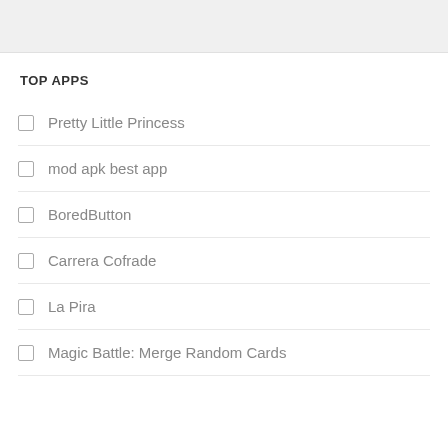TOP APPS
Pretty Little Princess
mod apk best app
BoredButton
Carrera Cofrade
La Pira
Magic Battle: Merge Random Cards